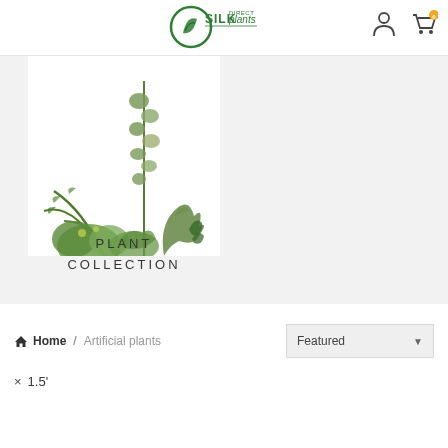[Figure (logo): Silk Plants Direct logo — circular green leaf icon with 'SILK plants DIRECT' text]
[Figure (illustration): Collection of artificial green plants including tall leafy stems, palm fronds, and bushy greenery on white background, with 'PLANT COLLECTION' text below]
Home / Artificial plants
Featured
× 1.5'